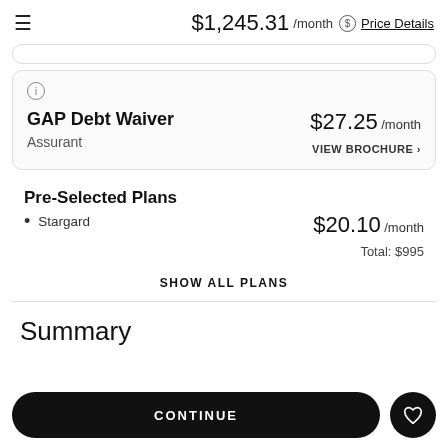$1,245.31 /month  Price Details
GAP Debt Waiver
Assurant
$27.25 /month
VIEW BROCHURE ›
Pre-Selected Plans
Stargard
$20.10 /month
Total: $995
SHOW ALL PLANS
Summary
CONTINUE